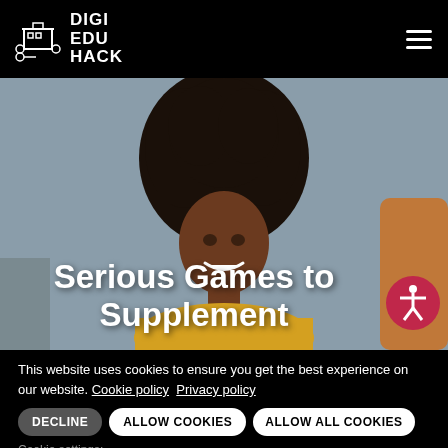DIGI EDU HACK
[Figure (photo): Young woman with curly natural hair smiling, photographed from close range with a gray background. Other people partially visible on the edges.]
Serious Games to Supplement
This website uses cookies to ensure you get the best experience on our website. Cookie policy  Privacy policy
DECLINE  ALLOW COOKIES  ALLOW ALL COOKIES
Cookie settings:
Necessary | Statistics | Marketing